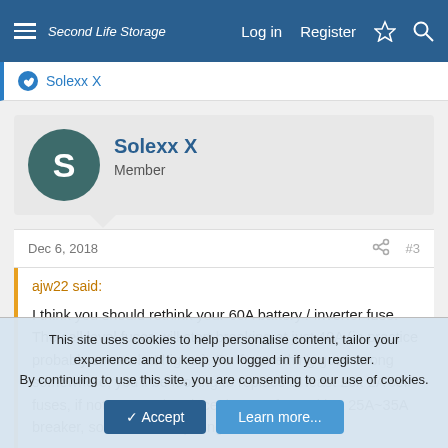Second Life Storage  Log in  Register
Solexx X
Solexx X
Member
Dec 6, 2018  #3
ajw22 said:
I think you should rethink your 60A battery / inverter fuse. The cell level fuses will start breaking at just 40A (in practice probably somewhat higher). So if something goes wrong somewhere, you'll be looking to replace at least 20x 2A cell fuses, if not more. I'd replace the 60A fuse with a 25A~35A breaker, so that it will trip long before the
This site uses cookies to help personalise content, tailor your experience and to keep you logged in if you register.
By continuing to use this site, you are consenting to our use of cookies.
Accept  Learn more...